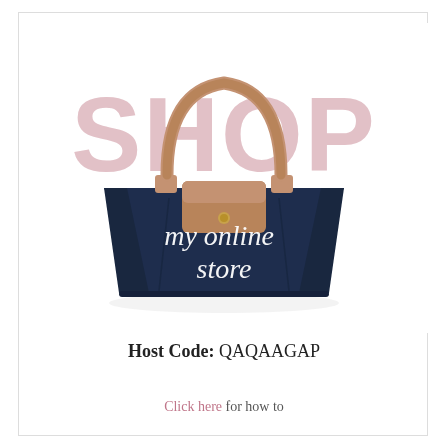[Figure (illustration): A navy blue tote bag (Longchamp-style) with tan/brown leather handles and flap. The word 'SHOP' appears in large light pink/mauve bold uppercase letters overlaid behind the bag. White cursive script on the bag reads 'my online store'.]
Host Code: QAQAAGAP
Click here for how to